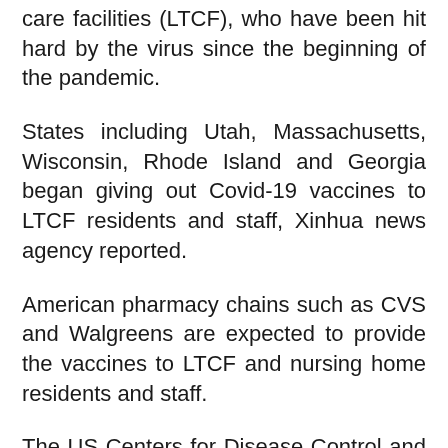care facilities (LTCF), who have been hit hard by the virus since the beginning of the pandemic.
States including Utah, Massachusetts, Wisconsin, Rhode Island and Georgia began giving out Covid-19 vaccines to LTCF residents and staff, Xinhua news agency reported.
American pharmacy chains such as CVS and Walgreens are expected to provide the vaccines to LTCF and nursing home residents and staff.
The US Centers for Disease Control and Prevention (CDC) has recommended LTCF health care workers be the first to receive